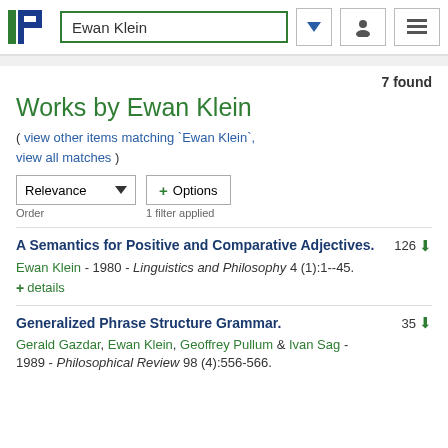Ewan Klein
7 found
Works by Ewan Klein
( view other items matching `Ewan Klein`, view all matches )
Relevance ▼   + Options
Order   1 filter applied
A Semantics for Positive and Comparative Adjectives.  126 ⬇
Ewan Klein - 1980 - Linguistics and Philosophy 4 (1):1--45.
+ details
Generalized Phrase Structure Grammar.  35 ⬇
Gerald Gazdar, Ewan Klein, Geoffrey Pullum & Ivan Sag - 1989 - Philosophical Review 98 (4):556-566.